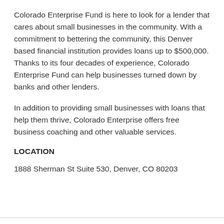Colorado Enterprise Fund is here to look for a lender that cares about small businesses in the community. With a commitment to bettering the community, this Denver based financial institution provides loans up to $500,000. Thanks to its four decades of experience, Colorado Enterprise Fund can help businesses turned down by banks and other lenders.
In addition to providing small businesses with loans that help them thrive, Colorado Enterprise offers free business coaching and other valuable services.
LOCATION
1888 Sherman St Suite 530, Denver, CO 80203